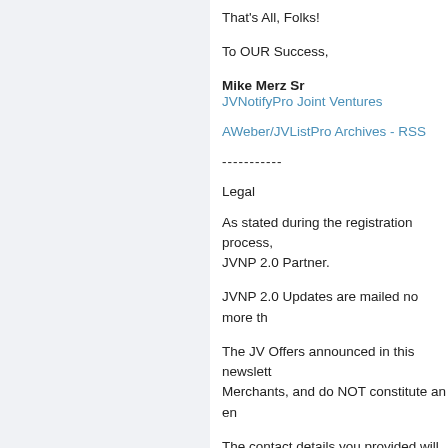That's All, Folks!
To OUR Success,
Mike Merz Sr
JVNotifyPro Joint Ventures
AWeber/JVListPro Archives - RSS
-----------
Legal
As stated during the registration process, JVNP 2.0 Partner.
JVNP 2.0 Updates are mailed no more th
The JV Offers announced in this newslett Merchants, and do NOT constitute an en
The contact details you provided will neve
If you no longer wish to remain on this lis subscriber option links below.
Powered By JVListPro/AWeber Email Ma